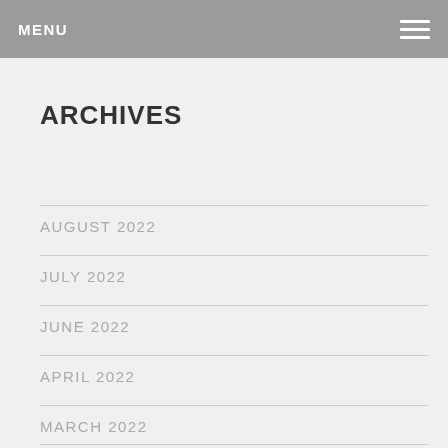MENU
ARCHIVES
AUGUST 2022
JULY 2022
JUNE 2022
APRIL 2022
MARCH 2022
FEBRUARY 2022